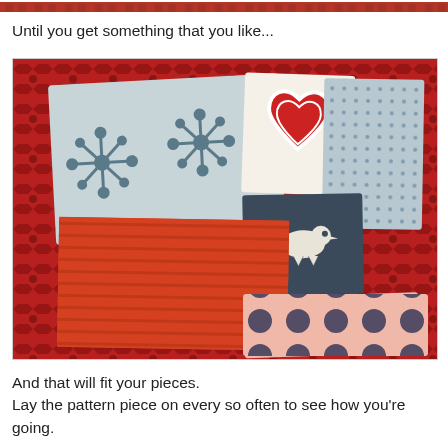[Figure (photo): Partial top strip of a photo showing a red patterned rug/carpet]
Until you get something that you like...
[Figure (photo): A collection of fabric pieces laid out on a red patterned carpet/rug. The fabrics include: a light grey piece with blue snowflake/dandelion print patterns, a white piece with a red heart outline, a grey piece with tiny blue floral dots, a dark navy/charcoal piece with a white bird print, a red/orange striped piece, and a pink piece with large dark navy polka dots.]
And that will fit your pieces.
Lay the pattern piece on every so often to see how you're going.